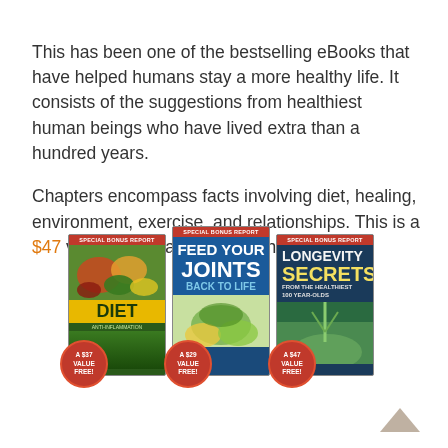This has been one of the bestselling eBooks that have helped humans stay a more healthy life. It consists of the suggestions from healthiest human beings who have lived extra than a hundred years.
Chapters encompass facts involving diet, healing, environment, exercise, and relationships. This is a $47 valued book and you get them free.
[Figure (illustration): Three eBook covers side by side: (1) The Anti-Inflammation Diet - red special bonus report banner, food photo, yellow DIET title band, green background, red badge 'A $37 VALUE FREE!'; (2) Feed Your Joints Back to Life - red special bonus report banner, blue cover with white text, plant image, red badge 'A $29 VALUE FREE!'; (3) Longevity Secrets From the Healthiest 100 Year-Olds - red special bonus report banner, dark blue/green cover with yellow SECRETS text, plant image, red badge 'A $47 VALUE FREE!']